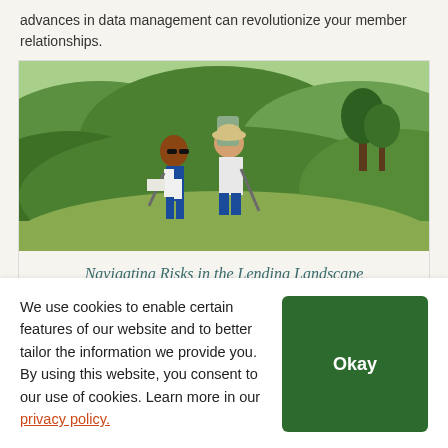advances in data management can revolutionize your member relationships.
[Figure (photo): Two hikers, a woman and a man, with backpacks and trekking poles on a hillside trail, with green rolling hills in the background.]
Navigating Risks in the Lending Landscape
We use cookies to enable certain features of our website and to better tailor the information we provide you. By using this website, you consent to our use of cookies. Learn more in our privacy policy.